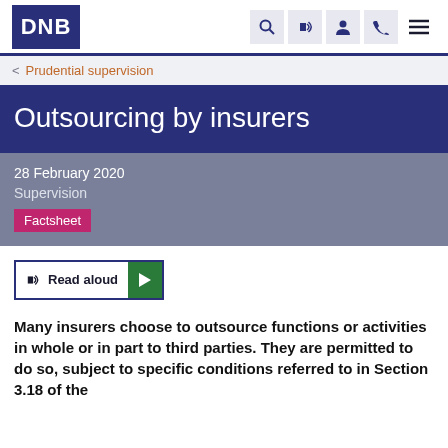DNB
< Prudential supervision
Outsourcing by insurers
28 February 2020
Supervision
Factsheet
Read aloud
Many insurers choose to outsource functions or activities in whole or in part to third parties. They are permitted to do so, subject to specific conditions referred to in Section 3.18 of the